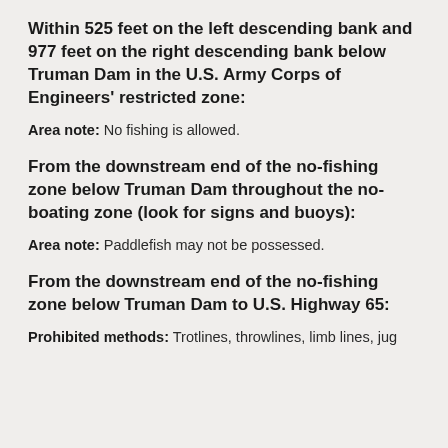Within 525 feet on the left descending bank and 977 feet on the right descending bank below Truman Dam in the U.S. Army Corps of Engineers' restricted zone:
Area note: No fishing is allowed.
From the downstream end of the no-fishing zone below Truman Dam throughout the no-boating zone (look for signs and buoys):
Area note: Paddlefish may not be possessed.
From the downstream end of the no-fishing zone below Truman Dam to U.S. Highway 65:
Prohibited methods: Trotlines, throwlines, limb lines, jug...